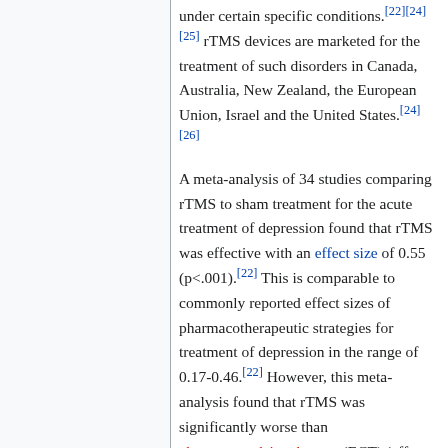under certain specific conditions.[22][24][25] rTMS devices are marketed for the treatment of such disorders in Canada, Australia, New Zealand, the European Union, Israel and the United States.[24][26]
A meta-analysis of 34 studies comparing rTMS to sham treatment for the acute treatment of depression found that rTMS was effective with an effect size of 0.55 (p<.001).[22] This is comparable to commonly reported effect sizes of pharmacotherapeutic strategies for treatment of depression in the range of 0.17-0.46.[22] However, this meta-analysis found that rTMS was significantly worse than electroconvulsive therapy (ECT) (effect size = -0.47), although there were significantly fewer adverse effects with